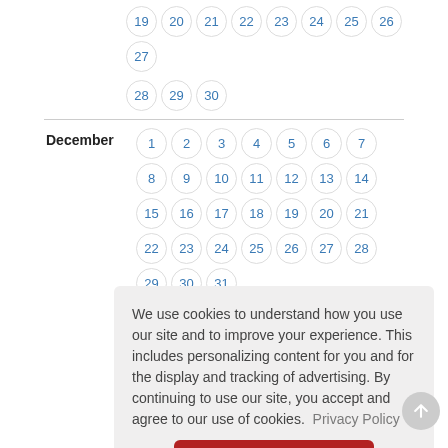[Figure (screenshot): Calendar showing end of November (19-30) and full December (1-31) with day numbers in circular cells, styled in blue on white background]
We use cookies to understand how you use our site and to improve your experience. This includes personalizing content for you and for the display and tracking of advertising. By continuing to use our site, you accept and agree to our use of cookies.  Privacy Policy
Got it!